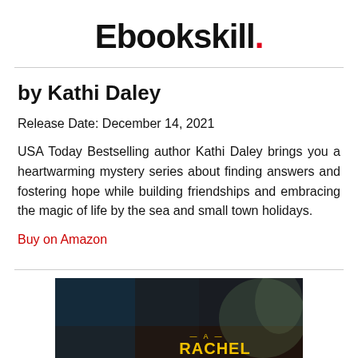Ebookskill.
by Kathi Daley
Release Date: December 14, 2021
USA Today Bestselling author Kathi Daley brings you a heartwarming mystery series about finding answers and fostering hope while building friendships and embracing the magic of life by the sea and small town holidays.
Buy on Amazon
[Figure (photo): Book cover image showing a dark mysterious book cover with yellow text reading 'A RACHEL HATCH']